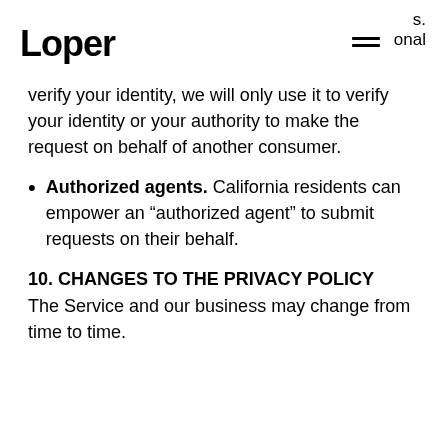Loper | s. onal
verify your identity, we will only use it to verify your identity or your authority to make the request on behalf of another consumer.
Authorized agents. California residents can empower an “authorized agent” to submit requests on their behalf.
10. CHANGES TO THE PRIVACY POLICY
The Service and our business may change from time to time.